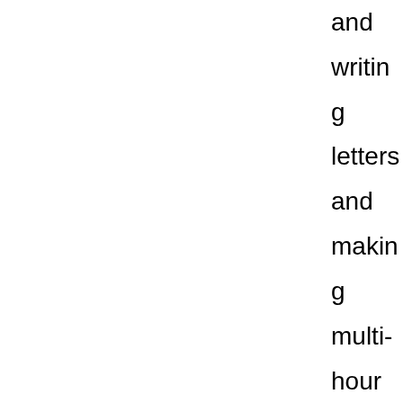and writing letters and making multi-hour phone calls every night. So much of that year is caught up with her that